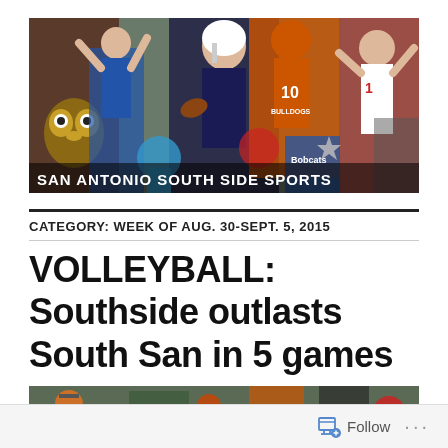[Figure (photo): San Antonio South Side Sports banner image — collage of various sports athletes including football, volleyball, basketball, baseball players with text overlay 'SAN ANTONIO SOUTH SIDE SPORTS']
CATEGORY: WEEK OF AUG. 30-SEPT. 5, 2015
VOLLEYBALL: Southside outlasts South San in 5 games
[Figure (photo): Partial sports collage image strip at the bottom showing various athletes]